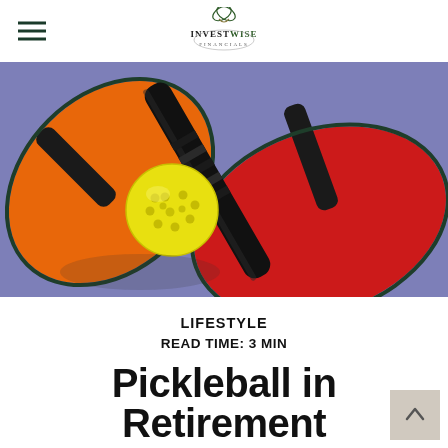InvestWise Financial — navigation header with logo
[Figure (photo): Top-down view of two pickleball paddles (one orange, one red) crossing on a purple court surface, with a yellow pickleball resting between them]
LIFESTYLE
READ TIME: 3 MIN
Pickleball in Retirement